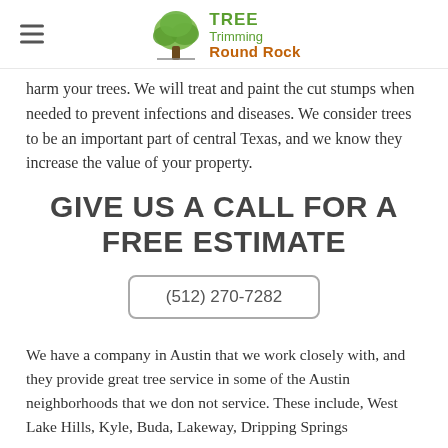Tree Trimming Round Rock
harm your trees. We will treat and paint the cut stumps when needed to prevent infections and diseases. We consider trees to be an important part of central Texas, and we know they increase the value of your property.
GIVE US A CALL FOR A FREE ESTIMATE
(512) 270-7282
We have a company in Austin that we work closely with, and they provide great tree service in some of the Austin neighborhoods that we don not service. These include, West Lake Hills, Kyle, Buda, Lakeway, Dripping Springs